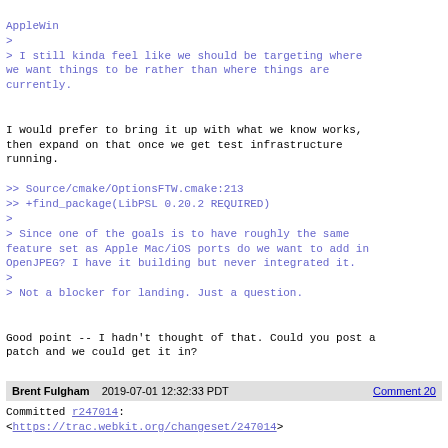AppleWin
>
> I still kinda feel like we should be targeting where we want things to be rather than where things are currently.


I would prefer to bring it up with what we know works, then expand on that once we get test infrastructure running.

>> Source/cmake/OptionsFTW.cmake:213
>> +find_package(LibPSL 0.20.2 REQUIRED)
>
> Since one of the goals is to have roughly the same feature set as Apple Mac/iOS ports do we want to add in OpenJPEG? I have it building but never integrated it.
>
> Not a blocker for landing. Just a question.


Good point -- I hadn't thought of that. Could you post a patch and we could get it in?
Brent Fulgham   2019-07-01 12:32:33 PDT   Comment 20
Committed r247014:
<https://trac.webkit.org/changeset/247014>